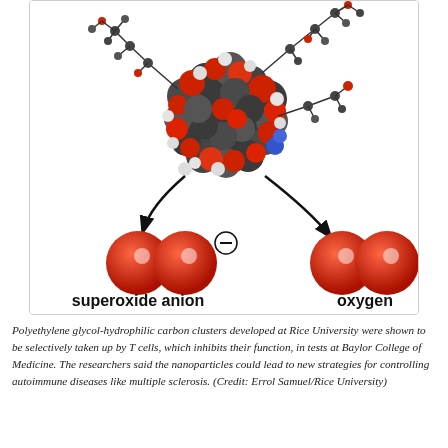[Figure (illustration): Scientific diagram showing a polyethylene glycol-hydrophilic carbon cluster nanoparticle (depicted as a large cluster of red, grey and white spheres with organic chain structures) converting superoxide anion (two red spheres with a negative charge symbol) to oxygen (two red spheres without charge). Curved arrows show the conversion direction. Labels 'superoxide anion' and 'oxygen' appear below respective molecular depictions in bold.]
Polyethylene glycol-hydrophilic carbon clusters developed at Rice University were shown to be selectively taken up by T cells, which inhibits their function, in tests at Baylor College of Medicine. The researchers said the nanoparticles could lead to new strategies for controlling autoimmune diseases like multiple sclerosis. (Credit: Errol Samuel/Rice University)